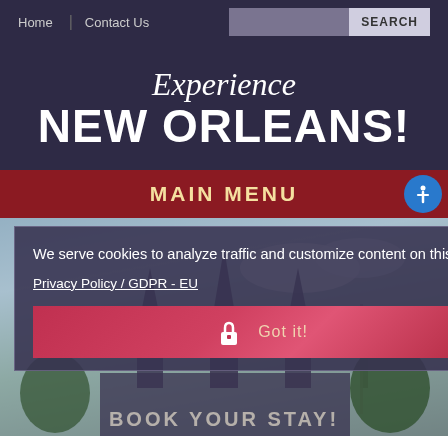Home | Contact Us  SEARCH
Experience NEW ORLEANS!
MAIN MENU
[Figure (photo): Background photo of New Orleans with St. Louis Cathedral and city architecture against a sky backdrop, with cookie consent overlay dialog showing 'We serve cookies to analyze traffic and customize content on this site.' and a 'Got it!' button]
We serve cookies to analyze traffic and customize content on this site.
Privacy Policy / GDPR - EU
Got it!
BOOK YOUR STAY!